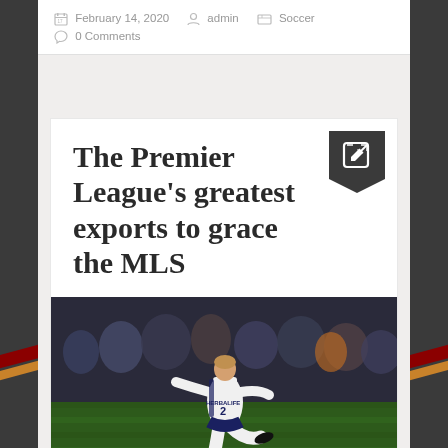February 14, 2020  admin  Soccer  0 Comments
The Premier League's greatest exports to grace the MLS
[Figure (photo): Soccer player in white LA Galaxy Herbalife jersey kicking a ball on a green field, with crowd in the background]